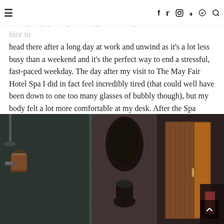≡  f  🐦  📷  P  🎵  🔍
As someone who doesn't regularly book spa days or treatments, I really enjoyed my evening at The May Fair hotel. It's rather nice to head there after a long day at work and unwind as it's a lot less busy than a weekend and it's the perfect way to end a stressful, fast-paced weekday. The day after my visit to The May Fair Hotel Spa I did in fact feel incredibly tired (that could well have been down to one too many glasses of bubbly though), but my body felt a lot more comfortable at my desk. After the Spa Seekers event, I would 110% book an evening weekday treatment over the weekend option.
[Figure (photo): Dark interior photo of a spa facility showing a shower area with wooden bucket on the left, a dark stone or tile feature wall in the center, and a wooden sauna room with door open on the right. The scene is dimly lit with warm amber tones from the sauna interior.]